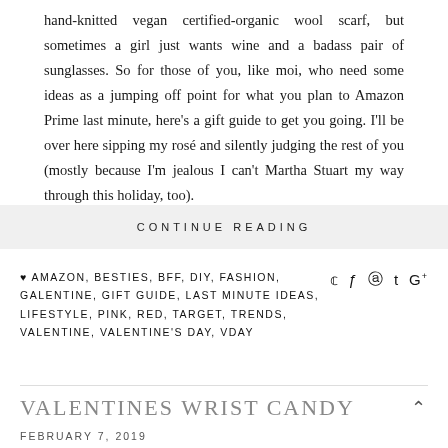hand-knitted vegan certified-organic wool scarf, but sometimes a girl just wants wine and a badass pair of sunglasses. So for those of you, like moi, who need some ideas as a jumping off point for what you plan to Amazon Prime last minute, here's a gift guide to get you going. I'll be over here sipping my rosé and silently judging the rest of you (mostly because I'm jealous I can't Martha Stuart my way through this holiday, too).
CONTINUE READING
♥ AMAZON, BESTIES, BFF, DIY, FASHION, GALENTINE, GIFT GUIDE, LAST MINUTE IDEAS, LIFESTYLE, PINK, RED, TARGET, TRENDS, VALENTINE, VALENTINE'S DAY, VDAY
VALENTINES WRIST CANDY
FEBRUARY 7, 2019